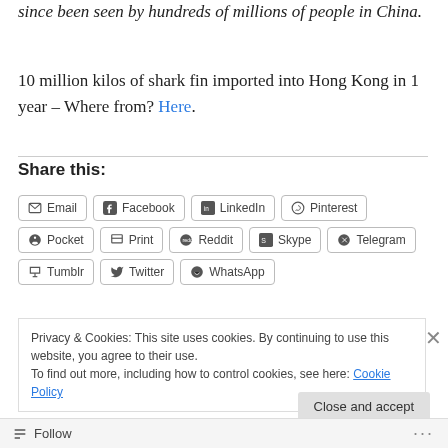since been seen by hundreds of millions of people in China.
10 million kilos of shark fin imported into Hong Kong in 1 year – Where from? Here.
Share this:
Email | Facebook | LinkedIn | Pinterest | Pocket | Print | Reddit | Skype | Telegram | Tumblr | Twitter | WhatsApp
Privacy & Cookies: This site uses cookies. By continuing to use this website, you agree to their use. To find out more, including how to control cookies, see here: Cookie Policy
Close and accept
Follow